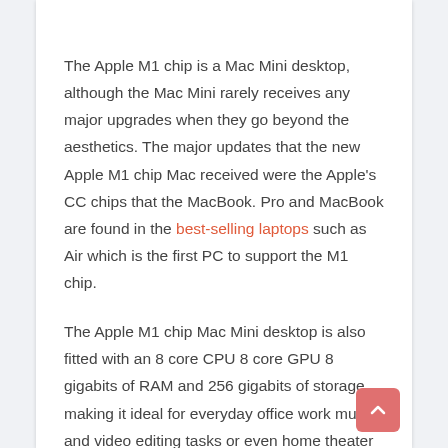The Apple M1 chip is a Mac Mini desktop, although the Mac Mini rarely receives any major upgrades when they go beyond the aesthetics. The major updates that the new Apple M1 chip Mac received were the Apple's CC chips that the MacBook. Pro and MacBook are found in the best-selling laptops such as Air which is the first PC to support the M1 chip.
The Apple M1 chip Mac Mini desktop is also fitted with an 8 core CPU 8 core GPU 8 gigabits of RAM and 256 gigabits of storage, making it ideal for everyday office work music and video editing tasks or even home theater systems Creates a dynamo. Less space up and it will basically match with everywhere you add it to the design department with maximum mini square shape and rounded edges,
It is truly iconic. At the bottom of the compact machine will